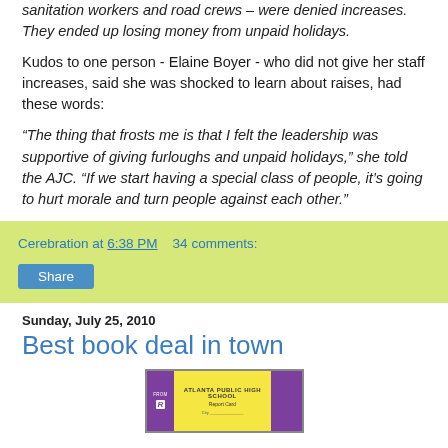sanitation workers and road crews – were denied increases. They ended up losing money from unpaid holidays.
Kudos to one person - Elaine Boyer - who did not give her staff increases, said she was shocked to learn about raises, had these words:
“The thing that frosts me is that I felt the leadership was supportive of giving furloughs and unpaid holidays,” she told the AJC. “If we start having a special class of people, it’s going to hurt morale and turn people against each other.”
Cerebration at 6:38 PM   34 comments:
Share
Sunday, July 25, 2010
Best book deal in town
[Figure (photo): Book cover image with purple and yellow design, appears to be from Atlanta Public High School]